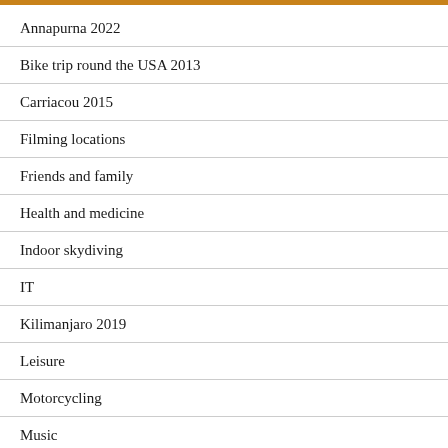Annapurna 2022
Bike trip round the USA 2013
Carriacou 2015
Filming locations
Friends and family
Health and medicine
Indoor skydiving
IT
Kilimanjaro 2019
Leisure
Motorcycling
Music
Politics and opinions